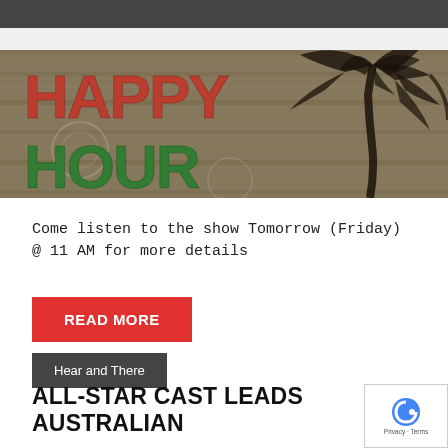[Figure (illustration): Happy Hour banner image with stylized graffiti-style lettering on a wooden background with a palm tree silhouette on the right]
Come listen to the show Tomorrow (Friday) @ 11 AM for more details
READ MORE
Hear and There
ALL-STAR CAST LEADS AUSTRALIAN